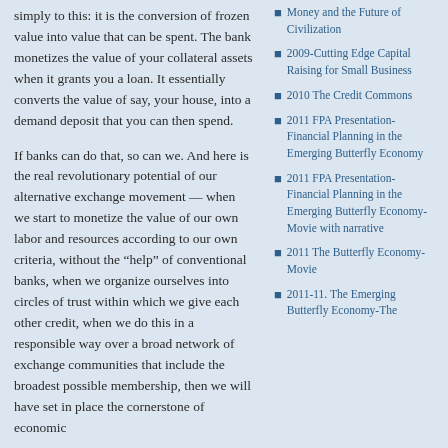simply to this: it is the conversion of frozen value into value that can be spent. The bank monetizes the value of your collateral assets when it grants you a loan. It essentially converts the value of say, your house, into a demand deposit that you can then spend.
If banks can do that, so can we. And here is the real revolutionary potential of our alternative exchange movement — when we start to monetize the value of our own labor and resources according to our own criteria, without the “help” of conventional banks, when we organize ourselves into circles of trust within which we give each other credit, when we do this in a responsible way over a broad network of exchange communities that include the broadest possible membership, then we will have set in place the cornerstone of economic
Money and the Future of Civilization
2009-Cutting Edge Capital Raising for Small Business
2010 The Credit Commons
2011 FPA Presentation-Financial Planning in the Emerging Butterfly Economy
2011 FPA Presentation-Financial Planning in the Emerging Butterfly Economy-Movie with narrative
2011 The Butterfly Economy-Movie
2011-11. The Emerging Butterfly Economy-The